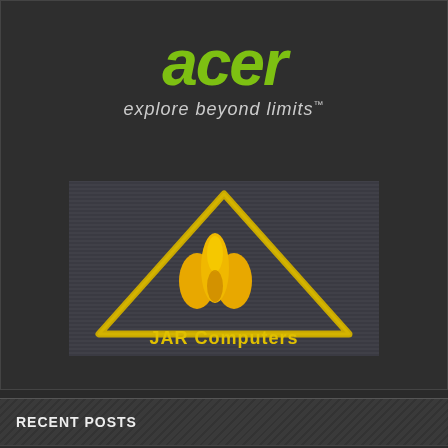[Figure (logo): Acer logo in green italic text with tagline 'explore beyond limits™' below in white italic]
[Figure (logo): JAR Computers logo: yellow triangle outline with flame icon inside and 'JAR Computers' text below, on dark textured background]
RECENT POSTS
BPro Veterans с любов към esport